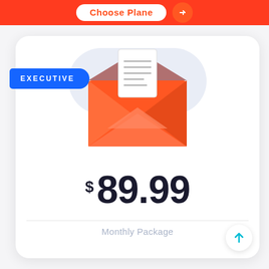Choose Plane
EXECUTIVE
[Figure (illustration): Orange open envelope with a white letter/document peeking out from the top, illustrated icon style]
$ 89.99
Monthly Package